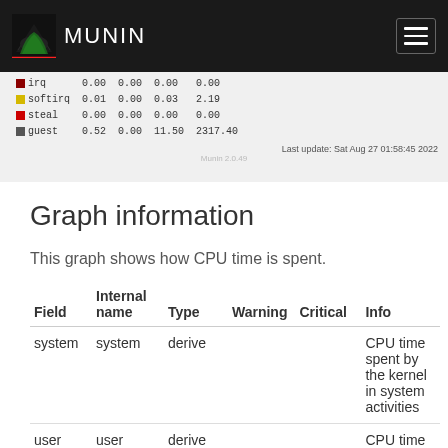MUNIN
[Figure (screenshot): Munin graph legend strip showing irq, softirq, steal, guest rows with numeric values and last update timestamp: Sat Aug 27 01:58:45 2022]
Graph information
This graph shows how CPU time is spent.
| Field | Internal name | Type | Warning | Critical | Info |
| --- | --- | --- | --- | --- | --- |
| system | system | derive |  |  | CPU time spent by the kernel in system activities |
| user | user | derive |  |  | CPU time spent by normal programs and daemons |
| nice | nice | derive |  |  | CPU time spent by nice(1)d programs |